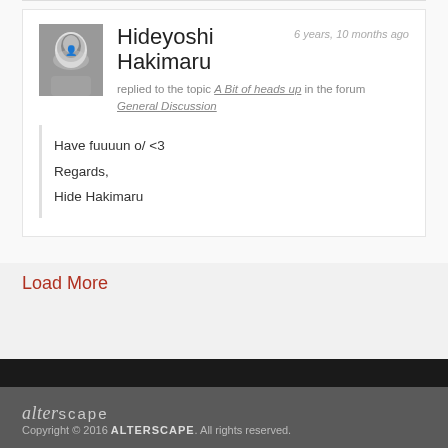Hideyoshi Hakimaru
6 years, 10 months ago
replied to the topic A Bit of heads up in the forum General Discussion
Have fuuuun o/ <3
Regards,
Hide Hakimaru
Load More
[Figure (logo): Alterscape logo in italic/small-caps style text]
Copyright © 2016 ALTERSCAPE. All rights reserved.